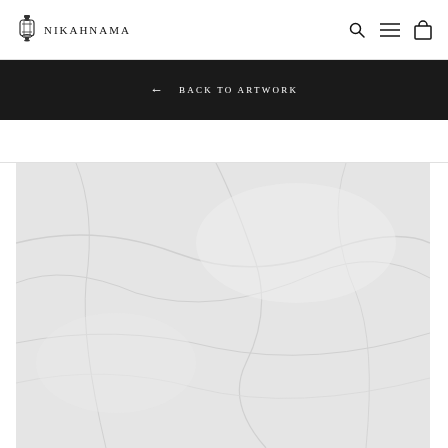NIKAHNAMA
← BACK TO ARTWORK
[Figure (photo): Light grey crumpled or folded paper texture, nearly blank, forming soft folds and creases across the surface.]